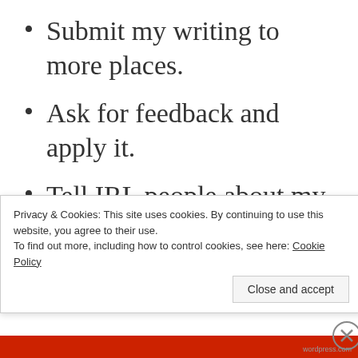Submit my writing to more places.
Ask for feedback and apply it.
Tell IRL people about my writing.
3. Read more diverse books.
Privacy & Cookies: This site uses cookies. By continuing to use this website, you agree to their use.
To find out more, including how to control cookies, see here: Cookie Policy
Close and accept